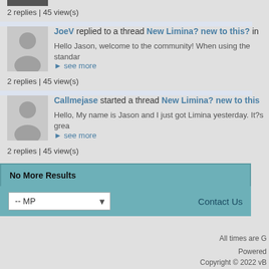2 replies | 45 view(s)
JoeV replied to a thread New Limina? new to this? in
Hello Jason, welcome to the community! When using the standar
see more
2 replies | 45 view(s)
Callmejase started a thread New Limina? new to this
Hello, My name is Jason and I just got Limina yesterday. It?s grea
see more
2 replies | 45 view(s)
No More Results
-- MP
Contact Us
All times are G
Powered
Copyright © 2022 vB